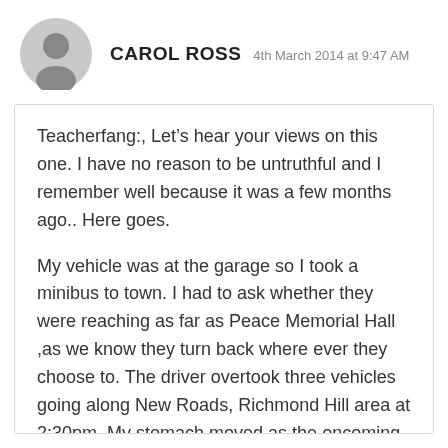CAROL ROSS  4th March 2014 at 9:47 AM
Teacherfang:, Let’s hear your views on this one. I have no reason to be untruthful and I remember well because it was a few months ago.. Here goes.
My vehicle was at the garage so I took a minibus to town. I had to ask whether they were reaching as far as Peace Memorial Hall ,as we know they turn back where ever they choose to. The driver overtook three vehicles going along New Roads, Richmond Hill area at 2:30pm. My stomach moved as the oncoming vehicle had to really accommodate him. When he got Beach Mount area he stopped to pick up passengers and was ready